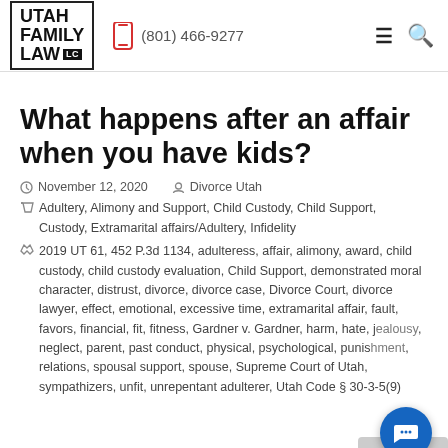Utah Family Law LLC | (801) 466-9277
What happens after an affair when you have kids?
November 12, 2020   Divorce Utah
Adultery, Alimony and Support, Child Custody, Child Support, Custody, Extramarital affairs/Adultery, Infidelity
2019 UT 61, 452 P.3d 1134, adulteress, affair, alimony, award, child custody, child custody evaluation, Child Support, demonstrated moral character, distrust, divorce, divorce case, Divorce Court, divorce lawyer, effect, emotional, excessive time, extramarital affair, fault, favors, financial, fit, fitness, Gardner v. Gardner, harm, hate, jealousy, neglect, parent, past conduct, physical, psychological, punishment, relations, spousal support, spouse, Supreme Court of Utah, sympathizers, unfit, unrepentant adulterer, Utah Code § 30-3-5(9)